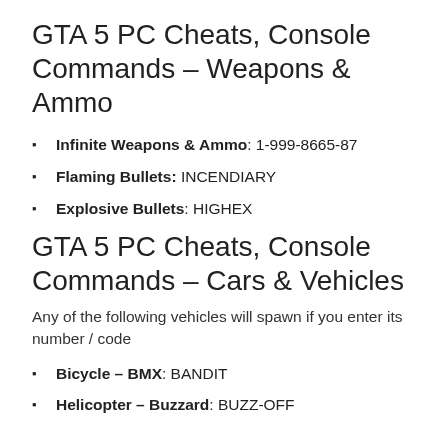GTA 5 PC Cheats, Console Commands – Weapons & Ammo
Infinite Weapons & Ammo: 1-999-8665-87
Flaming Bullets: INCENDIARY
Explosive Bullets: HIGHEX
GTA 5 PC Cheats, Console Commands – Cars & Vehicles
Any of the following vehicles will spawn if you enter its number / code
Bicycle – BMX: BANDIT
Helicopter – Buzzard: BUZZ-OFF